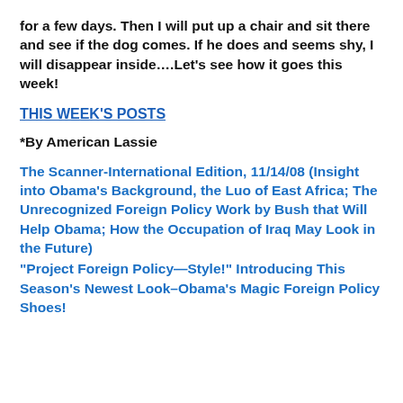for a few days. Then I will put up a chair and sit there and see if the dog comes. If he does and seems shy, I will disappear inside….Let's see how it goes this week!
THIS WEEK'S POSTS
*By American Lassie
The Scanner-International Edition, 11/14/08 (Insight into Obama's Background, the Luo of East Africa; The Unrecognized Foreign Policy Work by Bush that Will Help Obama; How the Occupation of Iraq May Look in the Future)
“Project Foreign Policy—Style!” Introducing This Season’s Newest Look–Obama’s Magic Foreign Policy Shoes!